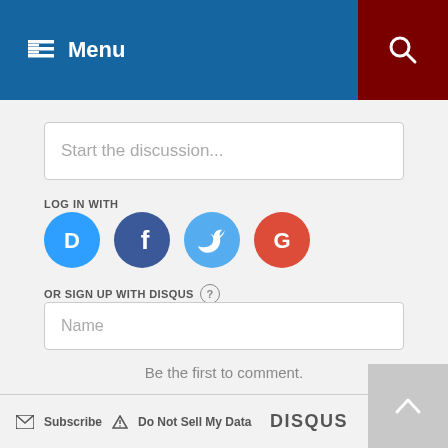Menu
Start the discussion...
LOG IN WITH
[Figure (screenshot): Social login icons: Disqus (blue speech bubble with D), Facebook (dark blue circle with f), Twitter (light blue circle with bird), Google (red circle with G)]
OR SIGN UP WITH DISQUS ?
Name
Be the first to comment.
Subscribe  Do Not Sell My Data  DISQUS